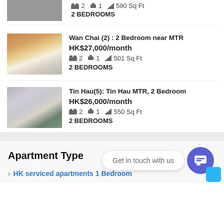2   1   590 Sq Ft
2 BEDROOMS
Wan Chai (2) : 2 Bedroom near MTR
HK$27,000/month
2   1   501 Sq Ft
2 BEDROOMS
[Figure (photo): Living room with TV unit, wooden floor, and window]
Tin Hau(5): Tin Hau MTR, 2 Bedroom
HK$26,000/month
2   1   550 Sq Ft
2 BEDROOMS
[Figure (photo): Living room with sofa and plant]
Apartment Type
Get in touch with us
> HK serviced apartments 1 Bedroom